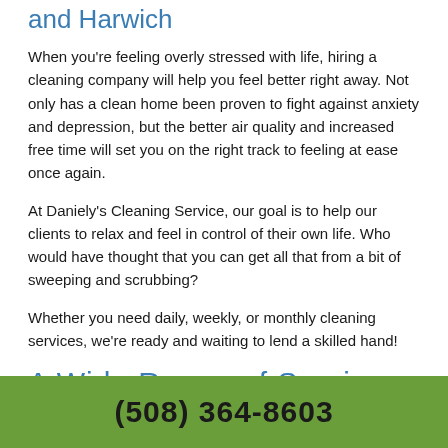and Harwich
When you're feeling overly stressed with life, hiring a cleaning company will help you feel better right away. Not only has a clean home been proven to fight against anxiety and depression, but the better air quality and increased free time will set you on the right track to feeling at ease once again.
At Daniely's Cleaning Service, our goal is to help our clients to relax and feel in control of their own life. Who would have thought that you can get all that from a bit of sweeping and scrubbing?
Whether you need daily, weekly, or monthly cleaning services, we're ready and waiting to lend a skilled hand!
A Wide Range of Services
Need your house cleaned from top to bottom? We're up for the job!
(508) 364-8603